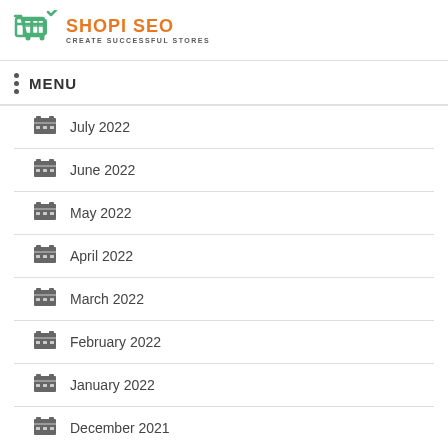SHOPI SEO - CREATE SUCCESSFUL STORES
MENU
July 2022
June 2022
May 2022
April 2022
March 2022
February 2022
January 2022
December 2021
November 2021